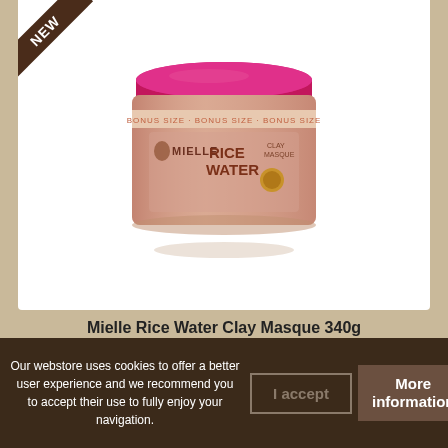[Figure (photo): Mielle Rice Water Clay Masque 340g product jar with pink lid and peach/rose colored label. A 'NEW' badge is shown in the top-left corner of the white product image area.]
Mielle Rice Water Clay Masque 340g
399,00 Kč
Our webstore uses cookies to offer a better user experience and we recommend you to accept their use to fully enjoy your navigation.